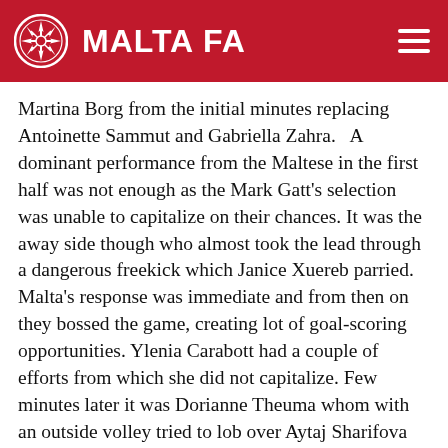MALTA FA
Martina Borg from the initial minutes replacing Antoinette Sammut and Gabriella Zahra.   A dominant performance from the Maltese in the first half was not enough as the Mark Gatt's selection was unable to capitalize on their chances. It was the away side though who almost took the lead through a dangerous freekick which Janice Xuereb parried. Malta's response was immediate and from then on they bossed the game, creating lot of goal-scoring opportunities. Ylenia Carabott had a couple of efforts from which she did not capitalize. Few minutes later it was Dorianne Theuma whom with an outside volley tried to lob over Aytaj Sharifova but the Azerbaijan's goalkeeper managed to save. 5 minutes later it was Dorianne Theuma again, this time with a low-shot from the edge of the box but one against Sharifova parried well. On the 27th minute, Brenda Borg had